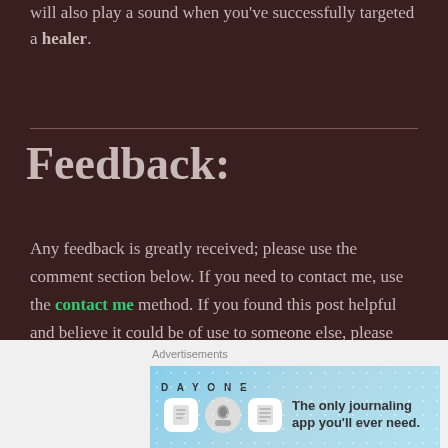will also play a sound when you've successfully targeted a healer.
Feedback:
Any feedback is greatly received; please use the comment section below. If you need to contact me, use the contact me method. If you found this post helpful and believe it could be of use to someone else, please consider liking and sharing.
[Figure (other): Day One journaling app advertisement banner with light blue background and app icons]
Advertisements